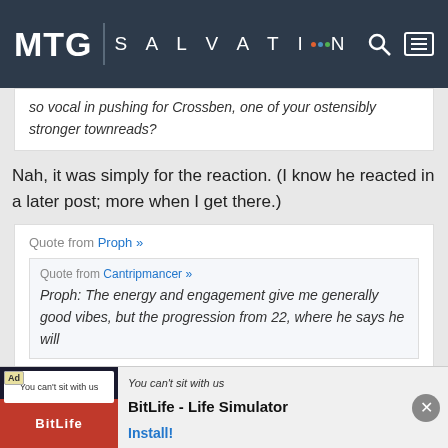MTG SALVATION
so vocal in pushing for Crossben, one of your ostensibly stronger townreads?
Nah, it was simply for the reaction. (I know he reacted in a later post; more when I get there.)
Quote from Proph »
Quote from Cantripmancer »
Proph: The energy and engagement give me generally good vibes, but the progression from 22, where he says he will
[Figure (screenshot): Ad banner for BitLife - Life Simulator with install button]